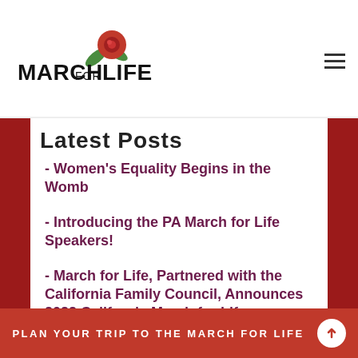[Figure (logo): March for Life logo with red rose and text 'MARCH FOR LIFE']
Latest Posts
- Women's Equality Begins in the Womb
- Introducing the PA March for Life Speakers!
- March for Life, Partnered with the California Family Council, Announces 2022 California March for Life
- Have You Made Travel Plans for the Connecticut March for Life?
- Announcing the Fourth Annual Virginia March for Life
PLAN YOUR TRIP TO THE MARCH FOR LIFE